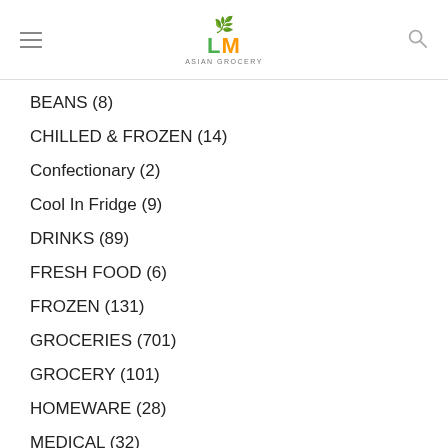LM ASIAN GROCERY
BEANS (8)
CHILLED & FROZEN (14)
Confectionary (2)
Cool In Fridge (9)
DRINKS (89)
FRESH FOOD (6)
FROZEN (131)
GROCERIES (701)
GROCERY (101)
HOMEWARE (28)
MEDICAL (32)
Miscellaneous (11)
Moon Cakes (2)